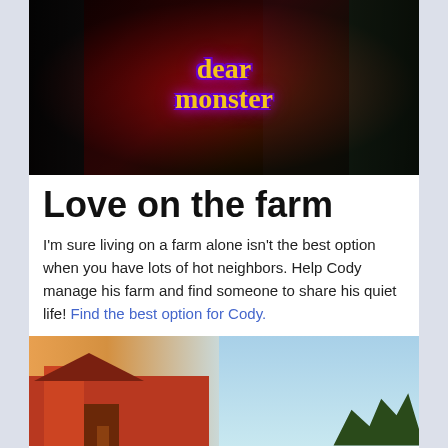[Figure (illustration): Promotional artwork for 'Dear Monster' visual novel/game, showing multiple anime-style characters (humans and monsters) with the game title 'dear monster' in stylized purple and orange text against a dark red background]
Love on the farm
I'm sure living on a farm alone isn't the best option when you have lots of hot neighbors. Help Cody manage his farm and find someone to share his quiet life! Find the best option for Cody.
[Figure (illustration): Scene showing a farm setting with a barn/wooden building structure, a character in a red shirt standing near the building, and trees in the background]